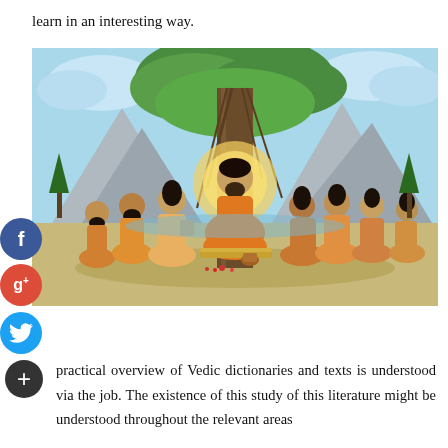learn in an interesting way.
[Figure (illustration): Illustrated scene of an ancient Indian guru or sage sitting cross-legged under a large tree with a halo, teaching several disciples seated around him on both sides. Mountains and sky in background. Comic/illustrated art style.]
practical overview of Vedic dictionaries and texts is understood via the job. The existence of this study of this literature might be understood throughout the relevant areas